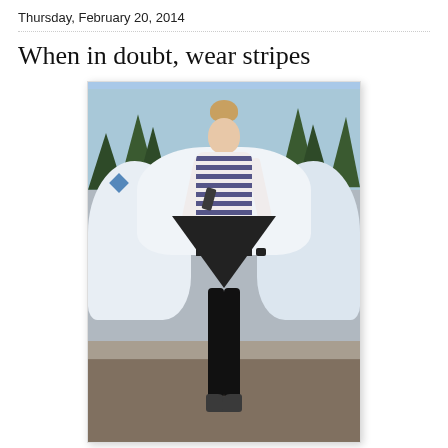Thursday, February 20, 2014
When in doubt, wear stripes
[Figure (photo): A young woman wearing a striped long-sleeve crop top and a black pleated skirt with black tights and sneakers, posing outdoors in a snowy setting with her hair in a bun.]